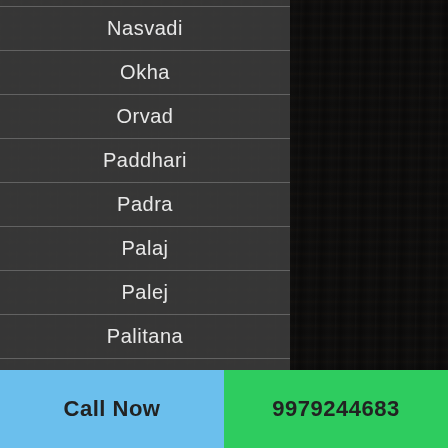Nasvadi
Okha
Orvad
Paddhari
Padra
Palaj
Palej
Palitana
Panoli
Call Now
9979244683